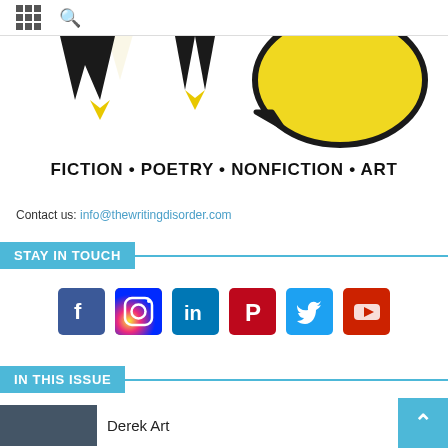Navigation header with grid and search icons
[Figure (logo): The Writing Disorder logo — stylized W letters with yellow/black arrow shapes and a yellow speech bubble]
FICTION • POETRY • NONFICTION • ART
Contact us: info@thewritingdisorder.com
STAY IN TOUCH
[Figure (infographic): Social media icons: Facebook, Instagram, LinkedIn, Pinterest, Twitter, YouTube]
IN THIS ISSUE
Derek Art